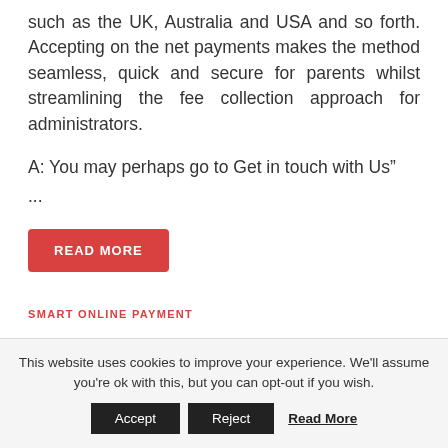such as the UK, Australia and USA and so forth. Accepting on the net payments makes the method seamless, quick and secure for parents whilst streamlining the fee collection approach for administrators.
A: You may perhaps go to Get in touch with Us" ...
READ MORE
SMART ONLINE PAYMENT
This website uses cookies to improve your experience. We'll assume you're ok with this, but you can opt-out if you wish.
Accept | Reject | Read More